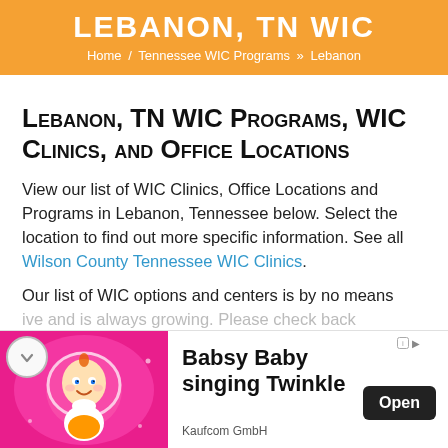Lebanon, TN WIC
Home / Tennessee WIC Programs » Lebanon
Lebanon, TN WIC Programs, WIC Clinics, and Office Locations
View our list of WIC Clinics, Office Locations and Programs in Lebanon, Tennessee below. Select the location to find out more specific information. See all Wilson County Tennessee WIC Clinics.
Our list of WIC options and centers is by no means exhaustive and is always growing. Please check back
[Figure (photo): Advertisement banner for Babsy Baby singing Twinkle by Kaufcom GmbH, with animated baby character on pink background and Open button]